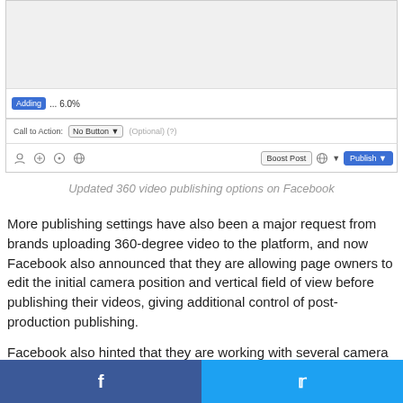[Figure (screenshot): Facebook post creation interface showing a video upload with 'Adding... 6.0%' progress indicator, a 'Call to Action: No Button' dropdown, and a bottom bar with icons, 'Boost Post', globe/arrow icon, and blue 'Publish' button]
Updated 360 video publishing options on Facebook
More publishing settings have also been a major request from brands uploading 360-degree video to the platform, and now Facebook also announced that they are allowing page owners to edit the initial camera position and vertical field of view before publishing their videos, giving additional control of post-production publishing.
Facebook also hinted that they are working with several camera makers, like Theta, Giroptic, IC Real Tech, and 360fly to provide in-app “publish to Facebook” options.